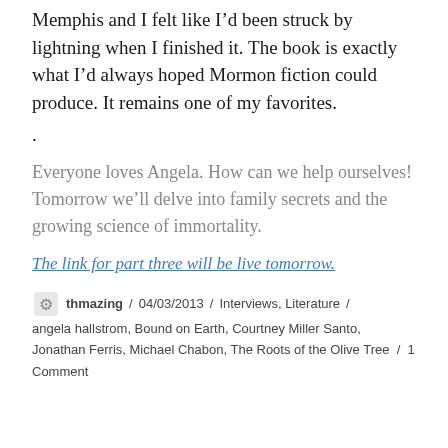Memphis and I felt like I'd been struck by lightning when I finished it. The book is exactly what I'd always hoped Mormon fiction could produce. It remains one of my favorites.
.
Everyone loves Angela. How can we help ourselves! Tomorrow we'll delve into family secrets and the growing science of immortality.
The link for part three will be live tomorrow.
thmazing / 04/03/2013 / Interviews, Literature / angela hallstrom, Bound on Earth, Courtney Miller Santo, Jonathan Ferris, Michael Chabon, The Roots of the Olive Tree / 1 Comment